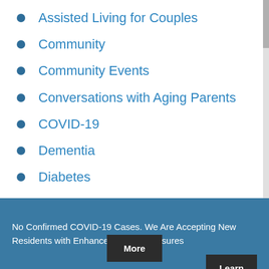Assisted Living for Couples
Community
Community Events
Conversations with Aging Parents
COVID-19
Dementia
Diabetes
Disaster Preparedness
Elder Abuse
No Confirmed COVID-19 Cases. We Are Accepting New Residents with Enhanced Safety Measures
Learn More